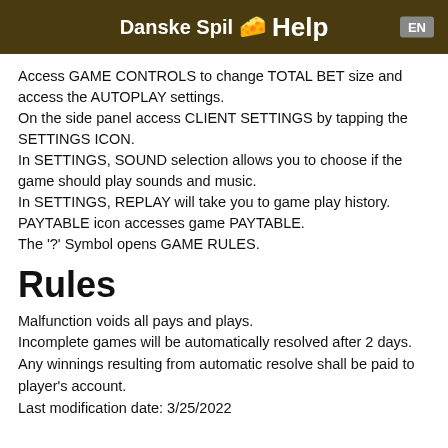Danske Spil 🧀 Help  EN
Access GAME CONTROLS to change TOTAL BET size and access the AUTOPLAY settings.
On the side panel access CLIENT SETTINGS by tapping the SETTINGS ICON.
In SETTINGS, SOUND selection allows you to choose if the game should play sounds and music.
In SETTINGS, REPLAY will take you to game play history.
PAYTABLE icon accesses game PAYTABLE.
The '?' Symbol opens GAME RULES.
Rules
Malfunction voids all pays and plays.
Incomplete games will be automatically resolved after 2 days. Any winnings resulting from automatic resolve shall be paid to player's account.
Last modification date: 3/25/2022